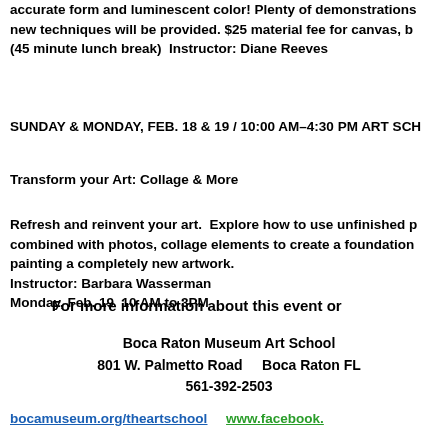accurate form and luminescent color! Plenty of demonstrations new techniques will be provided. $25 material fee for canvas, b (45 minute lunch break)  Instructor: Diane Reeves
SUNDAY & MONDAY, FEB. 18 & 19 / 10:00 AM–4:30 PM ART SCH
Transform your Art: Collage & More
Refresh and reinvent your art.  Explore how to use unfinished p combined with photos, collage elements to create a foundation painting a completely new artwork.
Instructor: Barbara Wasserman
Monday, Feb. 19  10 AM to 3PM
For more information about this event or
Boca Raton Museum Art School
801 W. Palmetto Road    Boca Raton FL
561-392-2503
bocamuseum.org/theartschool    www.facebook.